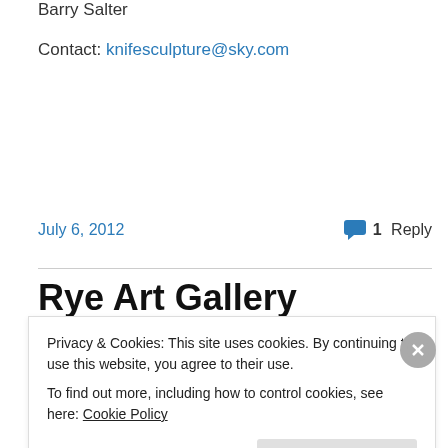Barry Salter
Contact: knifesculpture@sky.com
July 6, 2012
1 Reply
Rye Art Gallery Summer Show
Privacy & Cookies: This site uses cookies. By continuing to use this website, you agree to their use.
To find out more, including how to control cookies, see here: Cookie Policy